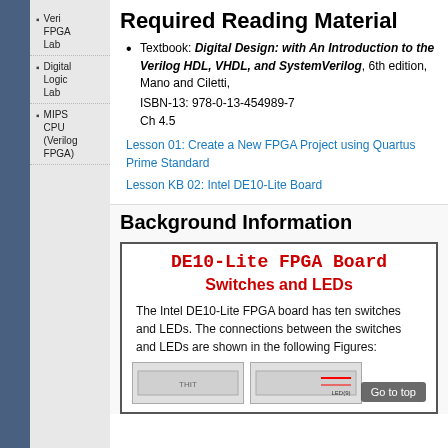Required Reading Material
Verilog FPGA Lab
Textbook: Digital Design: with An Introduction to the Verilog HDL, VHDL, and SystemVerilog, 6th edition, Mano and Ciletti, ISBN-13: 978-0-13-454989-7
Ch 4.5
Digital Logic Lab
Lesson 01: Create a New FPGA Project using Quartus Prime Standard
Lesson KB 02: Intel DE10-Lite Board
MIPS CPU (Verilog FPGA)
Background Information
DE10-Lite FPGA Board
Switches and LEDs
The Intel DE10-Lite FPGA board has ten switches and LEDs. The connections between the switches and LEDs are shown in the following Figures: